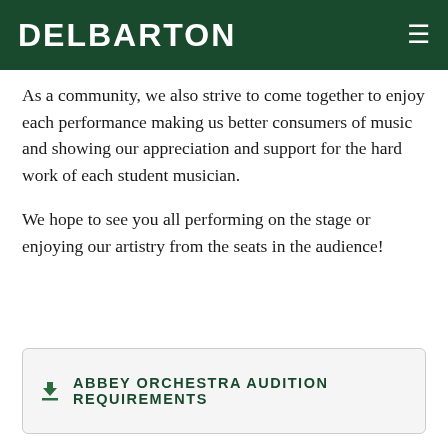DELBARTON
As a community, we also strive to come together to enjoy each performance making us better consumers of music and showing our appreciation and support for the hard work of each student musician.
We hope to see you all performing on the stage or enjoying our artistry from the seats in the audience!
ABBEY ORCHESTRA AUDITION REQUIREMENTS